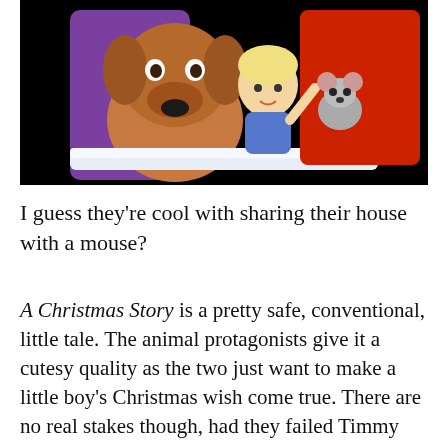[Figure (screenshot): Cartoon screenshot showing animated characters: a large brown dog, a small blonde child in blue, and a small mouse, appearing to look through a window with snow on the sill, set against a purple and red background.]
I guess they're cool with sharing their house with a mouse?
A Christmas Story is a pretty safe, conventional, little tale. The animal protagonists give it a cutesy quality as the two just want to make a little boy's Christmas wish come true. There are no real stakes though, had they failed Timmy just doesn't get any presents. He's not ill or anything, just a kid who wants some toys. Goober and Gumdrop are just good-hearted characters with no real personality to speak of. Goober, I suppose, is a bit clumsy, but that's basically it as far as character traits go. The cat gang was also full of